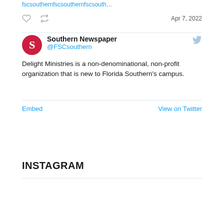fscsouthernfscsouthernfscsouth…
Apr 7, 2022
Southern Newspaper @FSCsouthern — Delight Ministries is a non-denominational, non-profit organization that is new to Florida Southern's campus.
Embed
View on Twitter
INSTAGRAM